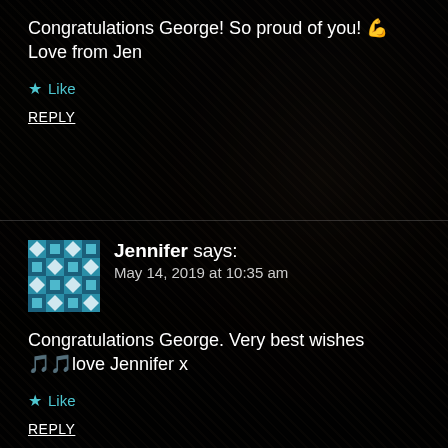Congratulations George! So proud of you! 💪 Love from Jen
★ Like
REPLY
[Figure (illustration): Tiled avatar icon with blue/teal diamond and square pattern]
Jennifer says: May 14, 2019 at 10:35 am
Congratulations George. Very best wishes 🎵🎵love Jennifer x
★ Like
REPLY